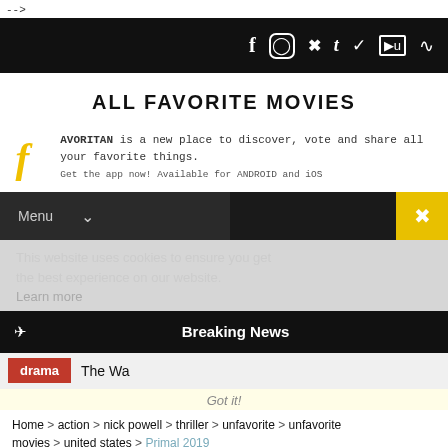-->
Social icons bar: f, Instagram, Pinterest, t, Twitter, YouTube, RSS
ALL FAVORITE MOVIES
[Figure (logo): Favoritan logo with stylized F and handwritten text: FAVORITAN is a new place to discover, vote and share all your favorite things. Get the app now! Available for ANDROID and iOS]
Menu
This website uses cookies to ensure you get the best experience on our website. Learn more
Breaking News
drama  The Wa
Got it!
Home > action > nick powell > thriller > unfavorite > unfavorite movies > united states > Primal 2019